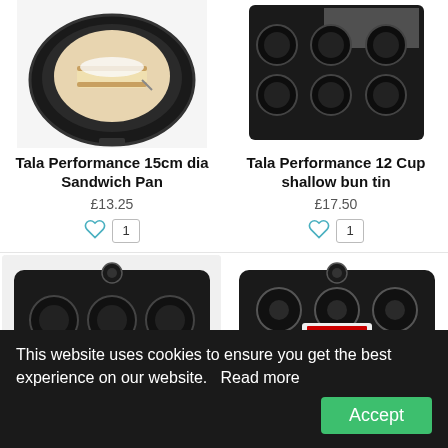[Figure (photo): Tala Performance 15cm dia Sandwich Pan - black round pan with cake image]
[Figure (photo): Tala Performance 12 Cup shallow bun tin - black muffin tray in packaging]
Tala Performance 15cm dia Sandwich Pan
£13.25
Tala Performance 12 Cup shallow bun tin
£17.50
[Figure (photo): Black 12-cup bun pan in packaging, bottom left]
[Figure (photo): Black 12-cup mini doughnut pan in packaging, bottom right]
This website uses cookies to ensure you get the best experience on our website.   Read more
Accept